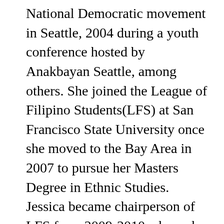National Democratic movement in Seattle, 2004 during a youth conference hosted by Anakbayan Seattle, among others. She joined the League of Filipino Students(LFS) at San Francisco State University once she moved to the Bay Area in 2007 to pursue her Masters Degree in Ethnic Studies. Jessica became chairperson of LFS from 2009-2010 where she initiated the formation of an on campus alliance of organizations known as the People of Color Alliance (PoCA) formed with Movimiento Estudiantil Chicano de Aztlan